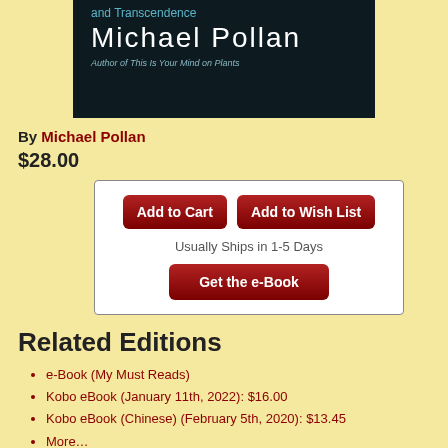[Figure (photo): Book cover showing 'and Transcendence' in blue text, 'Michael Pollan' in large white text, and 'Author of This Is Your Mind on Plants' in smaller grey-blue italic text, all on a dark background.]
By Michael Pollan
$28.00
[Figure (screenshot): Purchase widget with 'Add to Cart' and 'Add to Wish List' dark red buttons, 'Usually Ships in 1-5 Days' text, and 'Get the e-Book' dark red button, all inside a bordered box.]
Related Editions
e-Book (My Must Reads)
Kobo eBook (January 11th, 2022): $16.00
Kobo eBook (Chinese) (February 5th, 2020): $13.45
More…
Staff Reviews
Anne's pick.
From Anne Recommends